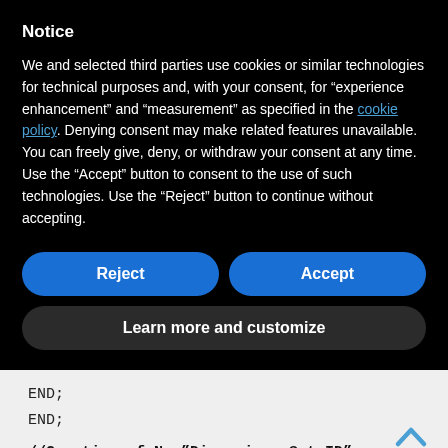Notice
We and selected third parties use cookies or similar technologies for technical purposes and, with your consent, for “experience enhancement” and “measurement” as specified in the cookie policy. Denying consent may make related features unavailable. You can freely give, deny, or withdraw your consent at any time. Use the “Accept” button to consent to the use of such technologies. Use the “Reject” button to continue without accepting.
Reject
Accept
Learn more and customize
END;
END;
//Creation of New”Dimensions Set ID”  :
examples STATIONS and PLANTS